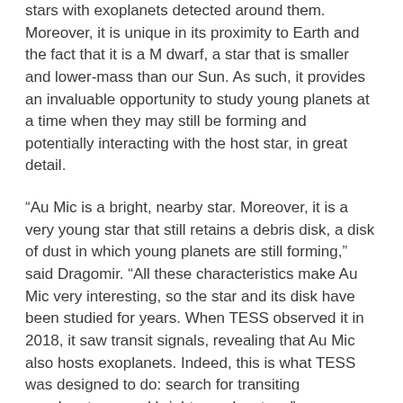stars with exoplanets detected around them. Moreover, it is unique in its proximity to Earth and the fact that it is a M dwarf, a star that is smaller and lower-mass than our Sun. As such, it provides an invaluable opportunity to study young planets at a time when they may still be forming and potentially interacting with the host star, in great detail.
“Au Mic is a bright, nearby star. Moreover, it is a very young star that still retains a debris disk, a disk of dust in which young planets are still forming,” said Dragomir. “All these characteristics make Au Mic very interesting, so the star and its disk have been studied for years. When TESS observed it in 2018, it saw transit signals, revealing that Au Mic also hosts exoplanets. Indeed, this is what TESS was designed to do: search for transiting exoplanets around bright, nearby stars.”
TESS is a NASA Astrophysics Explorer mission led and operated by MIT in Cambridge, Massachusetts, and managed by NASA’s Goddard Space Flight Center.